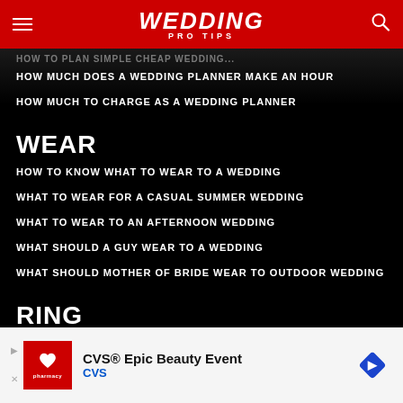WEDDING PRO TIPS
HOW TO PLAN SIMPLE CHEAP WEDDING
HOW MUCH DOES A WEDDING PLANNER MAKE AN HOUR
HOW MUCH TO CHARGE AS A WEDDING PLANNER
WEAR
HOW TO KNOW WHAT TO WEAR TO A WEDDING
WHAT TO WEAR FOR A CASUAL SUMMER WEDDING
WHAT TO WEAR TO AN AFTERNOON WEDDING
WHAT SHOULD A GUY WEAR TO A WEDDING
WHAT SHOULD MOTHER OF BRIDE WEAR TO OUTDOOR WEDDING
RING
[Figure (screenshot): CVS Epic Beauty Event advertisement banner]